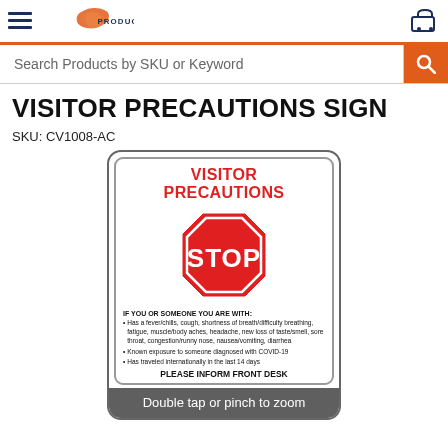Search Products by SKU or Keyword
VISITOR PRECAUTIONS SIGN
SKU: CV1008-AC
[Figure (illustration): Visitor Precautions Sign product image showing a red STOP sign octagon, bullet list of COVID-19 symptoms, and PLEASE INFORM FRONT DESK text, with a 'Double tap or pinch to zoom' overlay at the bottom.]